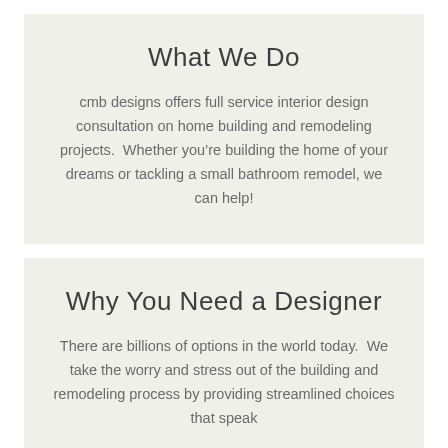What We Do
cmb designs offers full service interior design consultation on home building and remodeling projects.  Whether you’re building the home of your dreams or tackling a small bathroom remodel, we can help!
Why You Need a Designer
There are billions of options in the world today.  We take the worry and stress out of the building and remodeling process by providing streamlined choices that speak